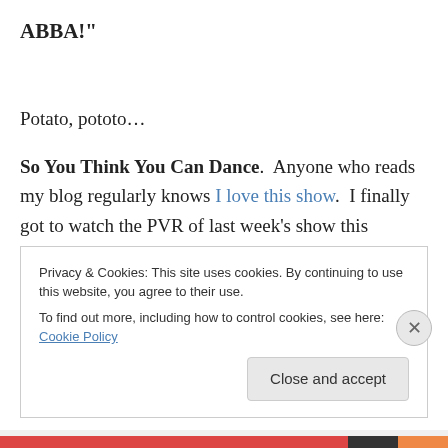ABBA!"
Potato, pototo…
So You Think You Can Dance.  Anyone who reads my blog regularly knows I love this show.  I finally got to watch the PVR of last week's show this morning.  Sasha dancing with my favourite boy from last year, Kent (an Ohio boy!),
Privacy & Cookies: This site uses cookies. By continuing to use this website, you agree to their use.
To find out more, including how to control cookies, see here: Cookie Policy
Close and accept